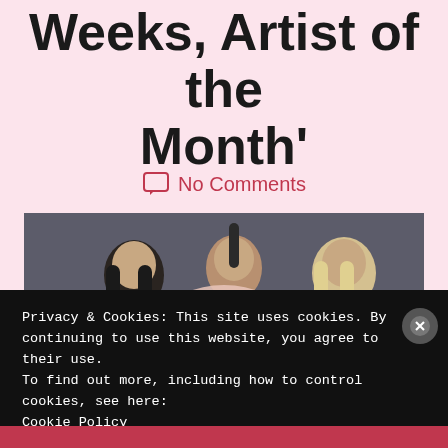Weeks, Artist of the Month'
No Comments
[Figure (photo): Three women posing against a dark gray background — leftmost has long black hair, center has high ponytail with light pink fur/feather wrap, rightmost has light blonde/silver hair.]
Privacy & Cookies: This site uses cookies. By continuing to use this website, you agree to their use.
To find out more, including how to control cookies, see here:
Cookie Policy
CLOSE AND ACCEPT